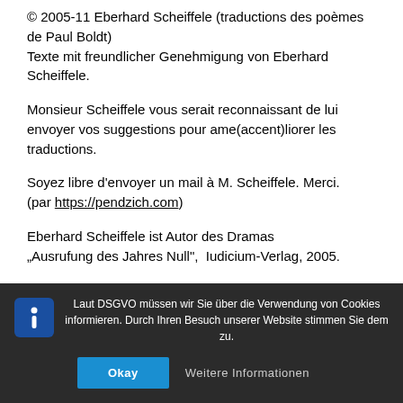© 2005-11 Eberhard Scheiffele (traductions des poèmes de Paul Boldt)
Texte mit freundlicher Genehmigung von Eberhard Scheiffele.

Monsieur Scheiffele vous serait reconnaissant de lui envoyer vos suggestions pour ame(accent)liorer les traductions.

Soyez libre d'envoyer un mail à M. Scheiffele. Merci. (par https://pendzich.com)

Eberhard Scheiffele ist Autor des Dramas „Ausrufung des Jahres Null", Iudicium-Verlag, 2005.
Laut DSGVO müssen wir Sie über die Verwendung von Cookies informieren. Durch Ihren Besuch unserer Website stimmen Sie dem zu.